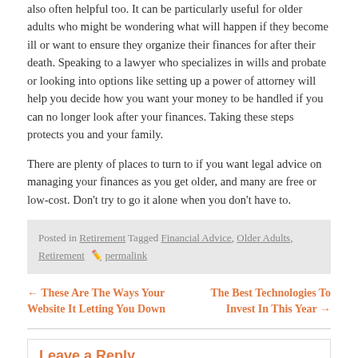also often helpful too. It can be particularly useful for older adults who might be wondering what will happen if they become ill or want to ensure they organize their finances for after their death. Speaking to a lawyer who specializes in wills and probate or looking into options like setting up a power of attorney will help you decide how you want your money to be handled if you can no longer look after your finances. Taking these steps protects you and your family.
There are plenty of places to turn to if you want legal advice on managing your finances as you get older, and many are free or low-cost. Don't try to go it alone when you don't have to.
Posted in Retirement Tagged Financial Advice, Older Adults, Retirement  permalink
← These Are The Ways Your Website It Letting You Down    The Best Technologies To Invest In This Year →
Leave a Reply